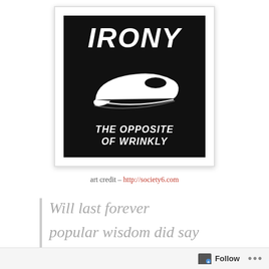[Figure (illustration): Framed art print on white background. Inside a black square: large bold italic white text 'IRONY' at top, a white silhouette of a clothes iron in the center, and white italic bold text 'THE OPPOSITE OF WRINKLY' at the bottom.]
art credit – http://society6.com
Will last forever
popular wisdom did say